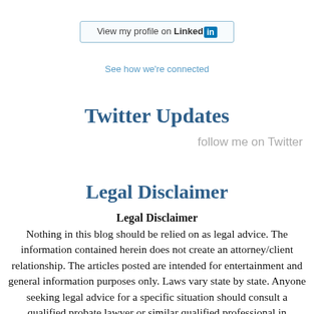[Figure (logo): LinkedIn 'View my profile' button with blue border and LinkedIn logo icon]
See how we're connected
Twitter Updates
follow me on Twitter
Legal Disclaimer
Legal Disclaimer
Nothing in this blog should be relied on as legal advice. The information contained herein does not create an attorney/client relationship. The articles posted are intended for entertainment and general information purposes only. Laws vary state by state. Anyone seeking legal advice for a specific situation should consult a qualified probate lawyer or similar qualified professional in